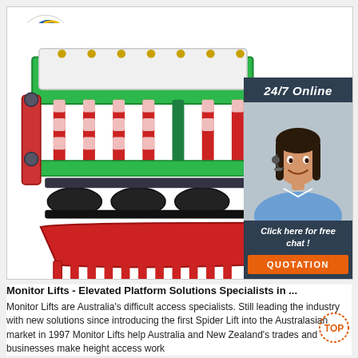[Figure (photo): Agricultural seed drill / planting machine with green metal frame, red seed hoppers, black rollers, and red front collector plate. Company logo with stylized 'A' letter and 'TRADE PRO' text visible in top left corner of the main image box.]
[Figure (infographic): 24/7 online chat widget with dark blue/slate background. Shows '24/7 Online' heading, photo of female customer service agent with headset, text 'Click here for free chat!', and orange 'QUOTATION' button.]
Monitor Lifts - Elevated Platform Solutions Specialists in ...
Monitor Lifts are Australia's difficult access specialists. Still leading the industry with new solutions since introducing the first Spider Lift into the Australasian market in 1997 Monitor Lifts help Australia and New Zealand's trades and businesses make height access work